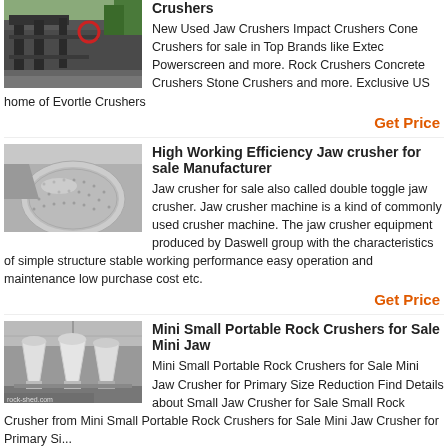[Figure (photo): Industrial crusher machinery equipment outdoors]
Crushers
New Used Jaw Crushers Impact Crushers Cone Crushers for sale in Top Brands like Extec Powerscreen and more. Rock Crushers Concrete Crushers Stone Crushers and more. Exclusive US home of Evortle Crushers
Get Price
[Figure (photo): Large cylindrical industrial ball mill or crusher machine]
High Working Efficiency Jaw crusher for sale Manufacturer
Jaw crusher for sale also called double toggle jaw crusher. Jaw crusher machine is a kind of commonly used crusher machine. The jaw crusher equipment produced by Daswell group with the characteristics of simple structure stable working performance easy operation and maintenance low purchase cost etc.
Get Price
[Figure (photo): Multiple white cone crusher machines in warehouse]
Mini Small Portable Rock Crushers for Sale Mini Jaw
Mini Small Portable Rock Crushers for Sale Mini Jaw Crusher for Primary Size Reduction Find Details about Small Jaw Crusher for Sale Small Rock Crusher from Mini Small Portable Rock Crushers for Sale Mini Jaw Crusher for Primary Si...